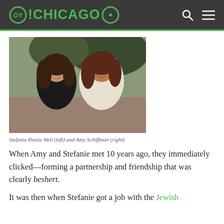OY!CHICAGO
[Figure (photo): Two women smiling outdoors, Stefanie Pessis Weil (left) and Amy Schiffman (right)]
Stefanie Pessis Weil (left) and Amy Schiffman (right)
When Amy and Stefanie met 10 years ago, they immediately clicked—forming a partnership and friendship that was clearly beshert.
It was then when Stefanie got a job with the Jewish